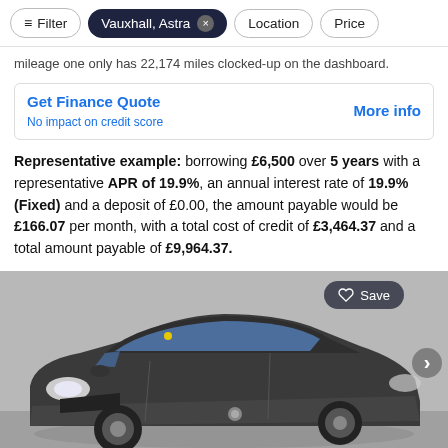Filter | Vauxhall, Astra × | Location | Price
mileage one only has 22,174 miles clocked-up on the dashboard.
Get Finance Quote
No impact on credit score
More info
Representative example: borrowing £6,500 over 5 years with a representative APR of 19.9%, an annual interest rate of 19.9% (Fixed) and a deposit of £0.00, the amount payable would be £166.07 per month, with a total cost of credit of £3,464.37 and a total amount payable of £9,964.37.
[Figure (photo): Dark grey Vauxhall Astra hatchback parked indoors against a grey wall, front three-quarter view, with a Save button overlay in top right and navigation arrow on the right side.]